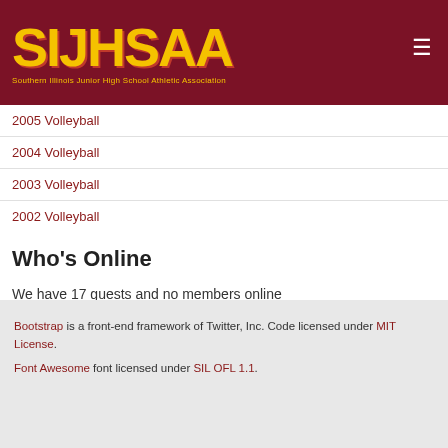SIJHSAA - Southern Illinois Junior High School Athletic Association
2005 Volleyball
2004 Volleyball
2003 Volleyball
2002 Volleyball
Who's Online
We have 17 guests and no members online
Bootstrap is a front-end framework of Twitter, Inc. Code licensed under MIT License. Font Awesome font licensed under SIL OFL 1.1.